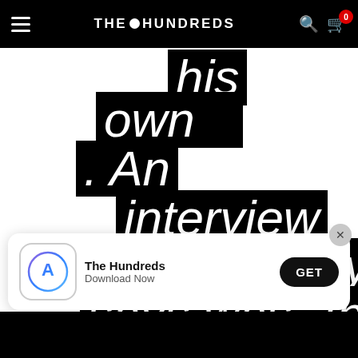THE HUNDREDS
his own . An interview which Bobby says was “the
[Figure (screenshot): App Store download banner for The Hundreds app with GET button and close X button]
The Hundreds
Download Now
GET